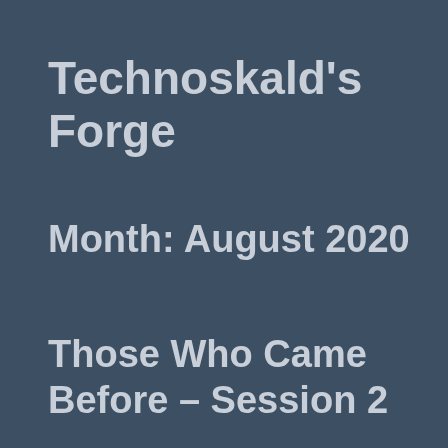Technoskald's Forge
Month: August 2020
Those Who Came Before – Session 2